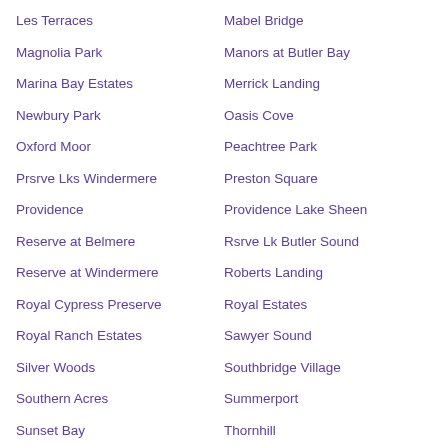Les Terraces
Mabel Bridge
Magnolia Park
Manors at Butler Bay
Marina Bay Estates
Merrick Landing
Newbury Park
Oasis Cove
Oxford Moor
Peachtree Park
Prsrve Lks Windermere
Preston Square
Providence
Providence Lake Sheen
Reserve at Belmere
Rsrve Lk Butler Sound
Reserve at Windermere
Roberts Landing
Royal Cypress Preserve
Royal Estates
Royal Ranch Estates
Sawyer Sound
Silver Woods
Southbridge Village
Southern Acres
Summerport
Sunset Bay
Thornhill
Tildens Grove
Tuscany Ridge